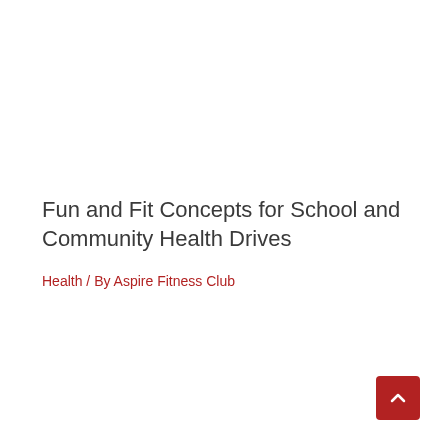Fun and Fit Concepts for School and Community Health Drives
Health / By Aspire Fitness Club